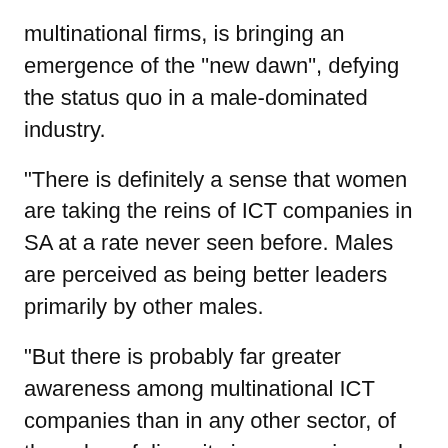multinational firms, is bringing an emergence of the “new dawn”, defying the status quo in a male-dominated industry.
“There is definitely a sense that women are taking the reins of ICT companies in SA at a rate never seen before. Males are perceived as being better leaders primarily by other males.
“But there is probably far greater awareness among multinational ICT companies than in any other sector, of the value of diversity in companies and the power of female leadership.”
Within the various companies in the sector, Goldstuck says the business-to-business firms see more diversity than their consumer-focused counterparts.
“If one deals with consumer-facing companies, it may